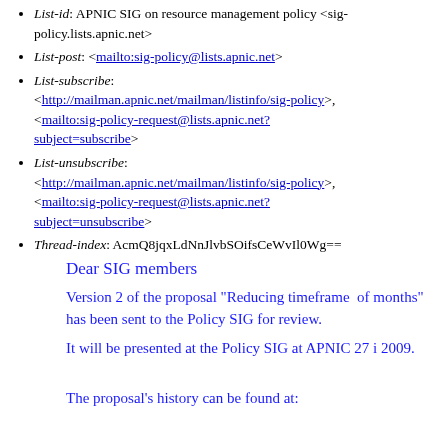List-id: APNIC SIG on resource management policy <sig-policy.lists.apnic.net>
List-post: <mailto:sig-policy@lists.apnic.net>
List-subscribe: <http://mailman.apnic.net/mailman/listinfo/sig-policy>, <mailto:sig-policy-request@lists.apnic.net?subject=subscribe>
List-unsubscribe: <http://mailman.apnic.net/mailman/listinfo/sig-policy>, <mailto:sig-policy-request@lists.apnic.net?subject=unsubscribe>
Thread-index: AcmQ8jqxLdNnJlvbSOifsCeWvIl0Wg==
Dear SIG members
Version 2 of the proposal "Reducing timeframe  of months" has been sent to the Policy SIG for review.
It will be presented at the Policy SIG at APNIC 27 i 2009.
The proposal's history can be found at: